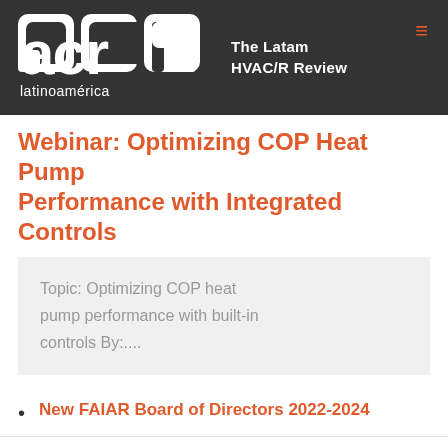acr latinoamérica — The Latam HVAC/R Review
Webinar: Optimizing COP Heat Pump Performance with Integrated Controls
Topic: Optimizing COP heat pump performance with built-in controls By:....
New FAIAR Board of Directors 2022-2024
Danfoss announced the manufacture in Mexico of its